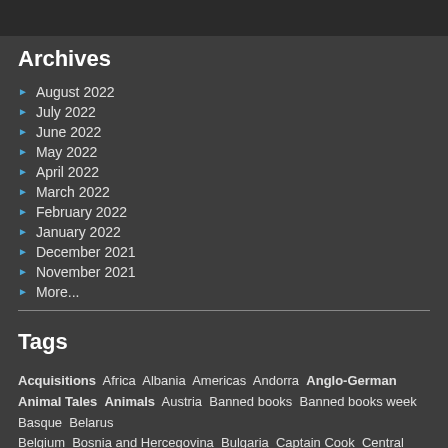Archives
August 2022
July 2022
June 2022
May 2022
April 2022
March 2022
February 2022
January 2022
December 2021
November 2021
More...
Tags
Acquisitions  Africa  Albania  Americas  Andorra  Anglo-German  Animal Tales  Animals  Austria  Banned books  Banned books week  Basque  Belarus  Belgium  Bosnia and Hercegovina  Bulgaria  Captain Cook  Central Asia